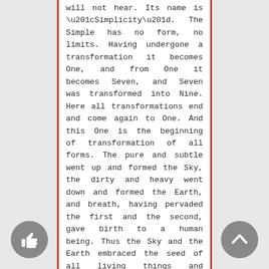will not hear. Its name is “Simplicity”. The Simple has no form, no limits. Having undergone a transformation it becomes One, and from One it becomes Seven, and Seven was transformed into Nine. Here all transformations end and come again to One. And this One is the beginning of transformation of all forms. The pure and subtle went up and formed the Sky, the dirty and heavy went down and formed the Earth, and breath, having pervaded the first and the second, gave birth to a human being. Thus the Sky and the Earth embraced the seed of all living things and everything came to life.